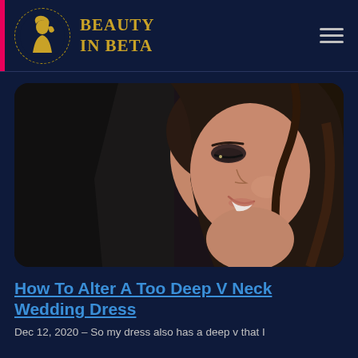BEAUTY IN BETA
[Figure (photo): Close-up photo of a smiling woman with dark hair and smoky eye makeup, leaning against a man in a black suit, wedding-style setting]
How To Alter A Too Deep V Neck Wedding Dress
Dec 12, 2020 – So my dress also has a deep v that I